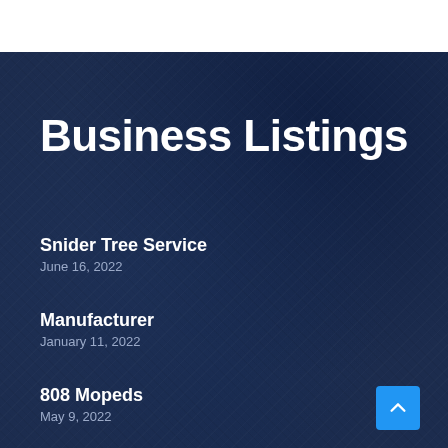Business Listings
Snider Tree Service
June 16, 2022
Manufacturer
January 11, 2022
808 Mopeds
May 9, 2022